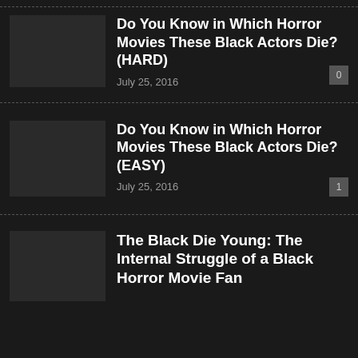Do You Know in Which Horror Movies These Black Actors Die? (HARD)
July 25, 2016
Do You Know in Which Horror Movies These Black Actors Die? (EASY)
July 25, 2016
The Black Die Young: The Internal Struggle of a Black Horror Movie Fan